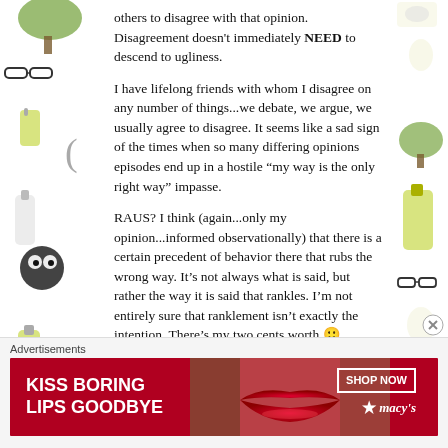others to disagree with that opinion. Disagreement doesn't immediately NEED to descend to ugliness.
I have lifelong friends with whom I disagree on any number of things...we debate, we argue, we usually agree to disagree. It seems like a sad sign of the times when so many differing opinions episodes end up in a hostile “my way is the only right way” impasse.
RAUS? I think (again...only my opinion...informed observationally) that there is a certain precedent of behavior there that rubs the wrong way. It’s not always what is said, but rather the way it is said that rankles. I’m not entirely sure that ranklement isn’t exactly the intention. There’s my two cents worth 🙂
Advertisements
[Figure (illustration): Advertisement banner for Macy's: red background with text 'KISS BORING LIPS GOODBYE', image of lips, 'SHOP NOW' button, and Macy's star logo]